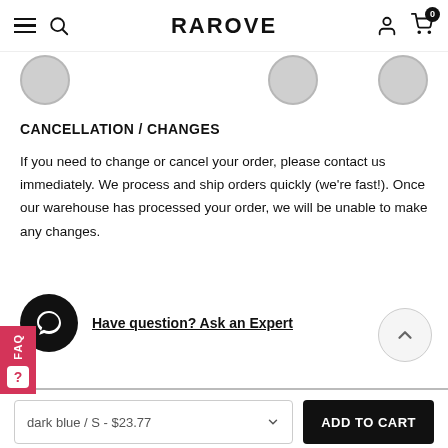RAROVE
[Figure (illustration): Partial view of circular product/category icons in a horizontal strip]
CANCELLATION / CHANGES
If you need to change or cancel your order, please contact us immediately. We process and ship orders quickly (we're fast!). Once our warehouse has processed your order, we will be unable to make any changes.
Have question? Ask an Expert
RELATED PRODUCTS